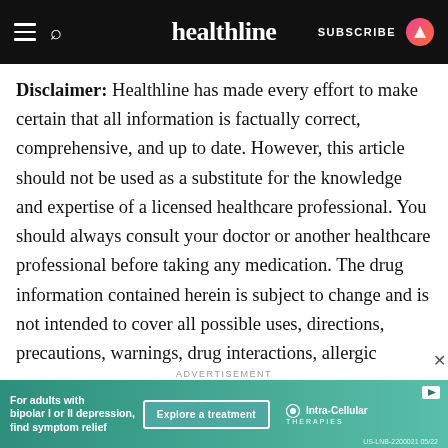healthline
Disclaimer: Healthline has made every effort to make certain that all information is factually correct, comprehensive, and up to date. However, this article should not be used as a substitute for the knowledge and expertise of a licensed healthcare professional. You should always consult your doctor or another healthcare professional before taking any medication. The drug information contained herein is subject to change and is not intended to cover all possible uses, directions, precautions, warnings, drug interactions, allergic reactions, or adverse effects. The absence of warnings or other information for a given drug does not indicate that the drug or drug combination is safe,
[Figure (screenshot): Advertisement banner for Intra-Cellular Therapies. Text reads: For adults with bipolar I or II depression, find symptom relief. Button: Explore a treatment. Logo: Intra-Cellular Therapies. Fine print: US-LNB-2200021 05/22]